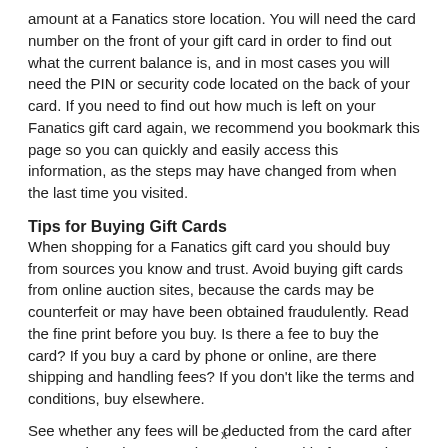amount at a Fanatics store location. You will need the card number on the front of your gift card in order to find out what the current balance is, and in most cases you will need the PIN or security code located on the back of your card. If you need to find out how much is left on your Fanatics gift card again, we recommend you bookmark this page so you can quickly and easily access this information, as the steps may have changed from when the last time you visited.
Tips for Buying Gift Cards
When shopping for a Fanatics gift card you should buy from sources you know and trust. Avoid buying gift cards from online auction sites, because the cards may be counterfeit or may have been obtained fraudulently. Read the fine print before you buy. Is there a fee to buy the card? If you buy a card by phone or online, are there shipping and handling fees? If you don't like the terms and conditions, buy elsewhere.
See whether any fees will be deducted from the card after you purchase it. Inspect the Fanatics card before you buy it. Verify that none of the protective stickers have been removed. Make sure that the codes on the back of the card haven't been scratched off to
x